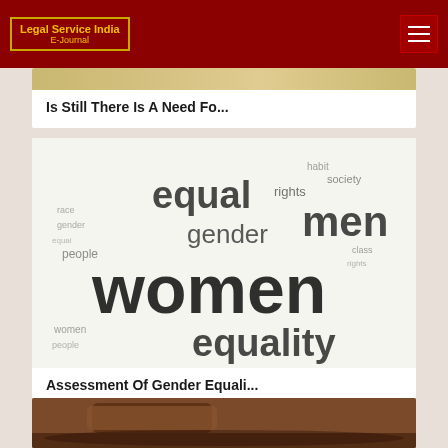Legal Service India E-Journal
[Figure (screenshot): Partial article thumbnail image at top]
Is Still There Is A Need Fo...
[Figure (illustration): Word cloud image with gender equality terms: equal, rights, gender, men, women, equality, society, people]
Assessment Of Gender Equali...
[Figure (photo): Partial gavel/judge hammer photo at bottom]